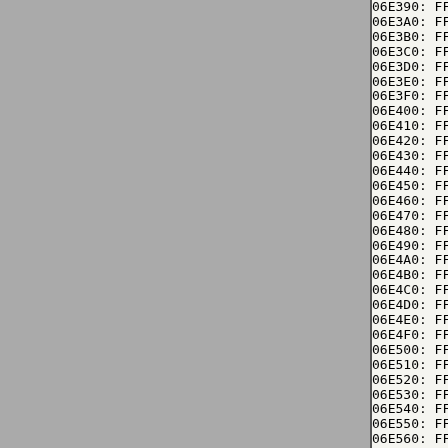[Figure (other): Gray panel on the left side of the page, approximately 370px wide, representing a sidebar or background panel.]
06E390: FF FF FF FF FF FF FF FF FF
06E3A0: FF FF FF FF FF FF FF FF FF
06E3B0: FF FF FF FF FF FF FF FF FF
06E3C0: FF FF FF FF FF FF FF FF FF
06E3D0: FF FF FF FF FF FF FF FF FF
06E3E0: FF FF FF FF FF FF FF FF FF
06E3F0: FF FF FF FF FF FF FF FF FF
06E400: FF FF FF FF FF FF FF FF FF
06E410: FF FF FF FF FF FF FF FF FF
06E420: FF FF FF FF FF FF FF FF FF
06E430: FF FF FF FF FF FF FF FF FF
06E440: FF FF FF FF FF FF FF FF FF
06E450: FF FF FF FF FF FF FF FF FF
06E460: FF FF FF FF FF FF FF FF FF
06E470: FF FF FF FF FF FF FF FF FF
06E480: FF FF FF FF FF FF FF FF FF
06E490: FF FF FF FF FF FF FF FF FF
06E4A0: FF FF FF FF FF FF FF FF FF
06E4B0: FF FF FF FF FF FF FF FF FF
06E4C0: FF FF FF FF FF FF FF FF FF
06E4D0: FF FF FF FF FF FF FF FF FF
06E4E0: FF FF FF FF FF FF FF FF FF
06E4F0: FF FF FF FF FF FF FF FF FF
06E500: FF FF FF FF FF FF FF FF FF
06E510: FF FF FF FF FF FF FF FF FF
06E520: FF FF FF FF FF FF FF FF FF
06E530: FF FF FF FF FF FF FF FF FF
06E540: FF FF FF FF FF FF FF FF FF
06E550: FF FF FF FF FF FF FF FF FF
06E560: FF FF FF FF FF FF FF FF FF